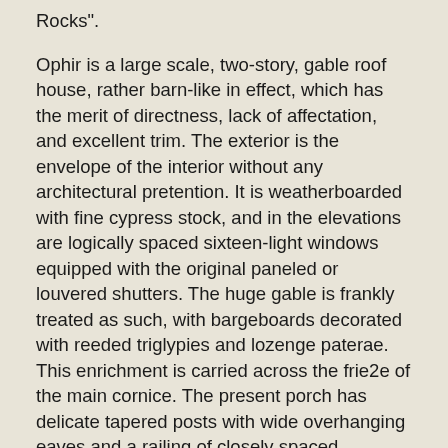Rocks".
Ophir is a large scale, two-story, gable roof house, rather barn-like in effect, which has the merit of directness, lack of affectation, and excellent trim. The exterior is the envelope of the interior without any architectural pretention. It is weatherboarded with fine cypress stock, and in the elevations are logically spaced sixteen-light windows equipped with the original paneled or louvered shutters. The huge gable is frankly treated as such, with bargeboards decorated with reeded triglypies and lozenge paterae. This enrichment is carried across the frie2e of the main cornice. The present porch has delicate tapered posts with wide overhanging eaves and a railing of closely spaced rectangular balusters. The great spreading exterior brick stairway is modern but is a type much used in this part of the State. The bellcast, or easing of the main roof at the eaves, is unusual in the area, as is the use of dormer windows. The chimney stacks are truncated with plastered neckings and capping washes.
The plan consists of a pair of equal drawing rooms in the front